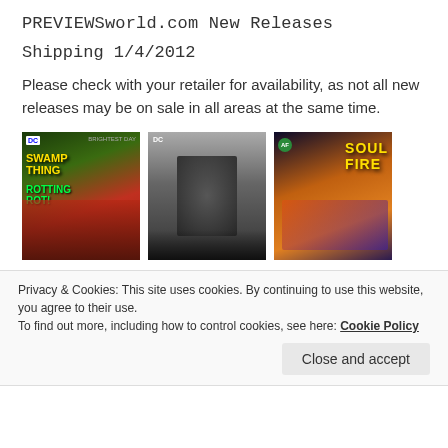PREVIEWSworld.com New Releases
Shipping 1/4/2012
Please check with your retailer for availability, as not all new releases may be on sale in all areas at the same time.
[Figure (photo): Three comic book covers: Swamp Thing, Batman, and Soulfire]
Privacy & Cookies: This site uses cookies. By continuing to use this website, you agree to their use.
To find out more, including how to control cookies, see here: Cookie Policy